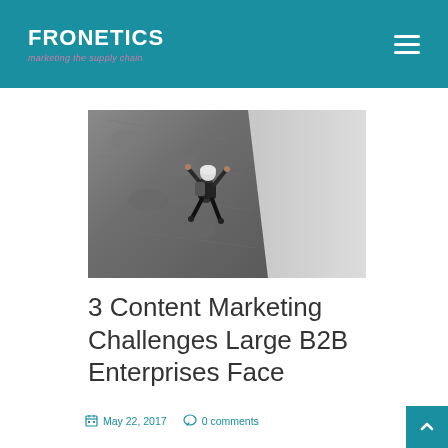FRONETICS — marketing the supply chain
[Figure (photo): Person rock climbing on a cliff face, black and white/desaturated photo]
3 Content Marketing Challenges Large B2B Enterprises Face
May 22, 2017   0 comments